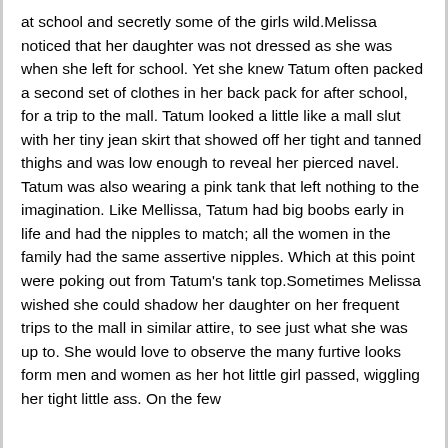at school and secretly some of the girls wild.Melissa noticed that her daughter was not dressed as she was when she left for school. Yet she knew Tatum often packed a second set of clothes in her back pack for after school, for a trip to the mall. Tatum looked a little like a mall slut with her tiny jean skirt that showed off her tight and tanned thighs and was low enough to reveal her pierced navel. Tatum was also wearing a pink tank that left nothing to the imagination. Like Mellissa, Tatum had big boobs early in life and had the nipples to match; all the women in the family had the same assertive nipples. Which at this point were poking out from Tatum's tank top.Sometimes Melissa wished she could shadow her daughter on her frequent trips to the mall in similar attire, to see just what she was up to. She would love to observe the many furtive looks form men and women as her hot little girl passed, wiggling her tight little ass. On the few